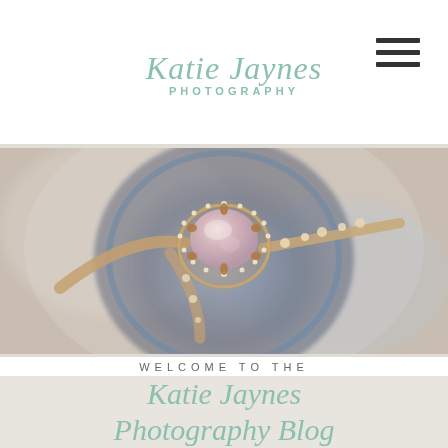Katie Jaynes PHOTOGRAPHY
[Figure (photo): Close-up photograph of a rose gold engagement ring with an oval morganite (pink) center stone surrounded by a diamond halo, resting in a blue velvet ring box. A diamond band is also visible in the background, all on a soft blurred background.]
WELCOME TO THE
Katie Jaynes Photography Blog